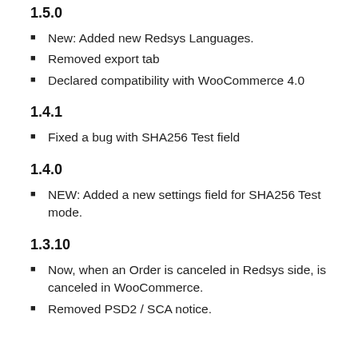1.5.0
New: Added new Redsys Languages.
Removed export tab
Declared compatibility with WooCommerce 4.0
1.4.1
Fixed a bug with SHA256 Test field
1.4.0
NEW: Added a new settings field for SHA256 Test mode.
1.3.10
Now, when an Order is canceled in Redsys side, is canceled in WooCommerce.
Removed PSD2 / SCA notice.